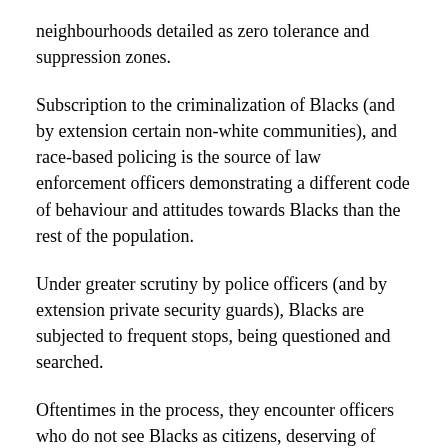neighbourhoods detailed as zero tolerance and suppression zones.
Subscription to the criminalization of Blacks (and by extension certain non-white communities), and race-based policing is the source of law enforcement officers demonstrating a different code of behaviour and attitudes towards Blacks than the rest of the population.
Under greater scrutiny by police officers (and by extension private security guards), Blacks are subjected to frequent stops, being questioned and searched.
Oftentimes in the process, they encounter officers who do not see Blacks as citizens, deserving of common courtesy, civility, respect and most importantly, the presumption of innocence that has long been one of the cornerstones of the law. Consequently, those officers